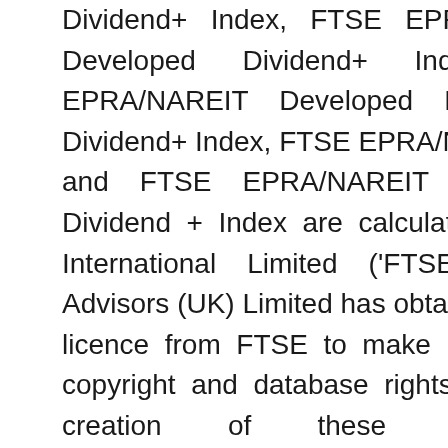Dividend+ Index, FTSE EPRA/NAREIT Developed Dividend+ Index, FTSE EPRA/NAREIT Developed Europe ex UK Dividend+ Index, FTSE EPRA/NAREIT UK Index and FTSE EPRA/NAREIT United States Dividend + Index are calculated by FTSE International Limited ('FTSE'). BlackRock Advisors (UK) Limited has obtained full licence from FTSE to make use of such copyright and database rights within the creation of these products.
[Figure (other): A pill-shaped button labeled HOTELS with a folder icon, and a pink circular scroll-to-top button with an upward chevron arrow]